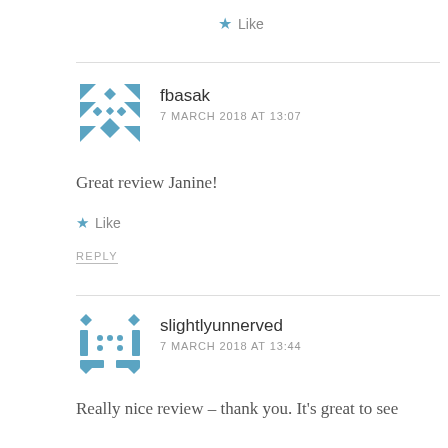★ Like
fbasak
7 MARCH 2018 AT 13:07
Great review Janine!
★ Like
REPLY
slightlyunnerved
7 MARCH 2018 AT 13:44
Really nice review – thank you. It's great to see